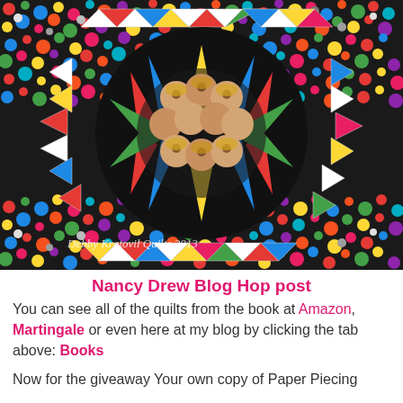[Figure (photo): A colorful quilt featuring a circular design with a black background star burst center containing portrait medallions of Nancy Drew character faces, surrounded by rings of triangular patchwork in many colors, set against a vibrant multicolor polka dot fabric background. Watermark text reads: Debby Kratovil Quilts 2013]
Nancy Drew Blog Hop post
You can see all of the quilts from the book at Amazon, Martingale or even here at my blog by clicking the tab above: Books
Now for the giveaway Your own copy of Paper Piecing